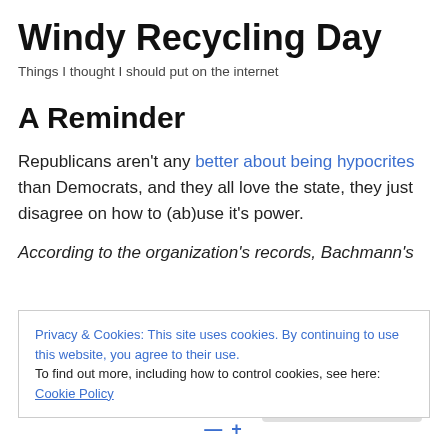Windy Recycling Day
Things I thought I should put on the internet
A Reminder
Republicans aren't any better about being hypocrites than Democrats, and they all love the state, they just disagree on how to (ab)use it's power.
According to the organization's records, Bachmann's
Privacy & Cookies: This site uses cookies. By continuing to use this website, you agree to their use.
To find out more, including how to control cookies, see here: Cookie Policy
Close and accept